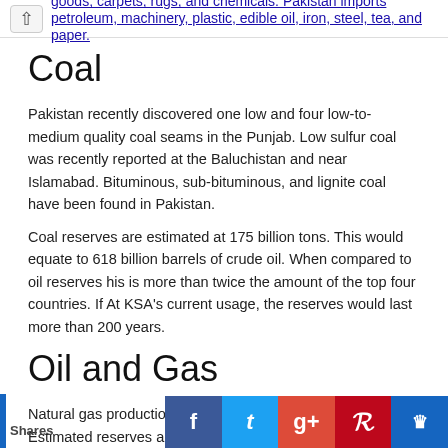goods, carpets, rugs, and chemicals. Pakistan imports petroleum, machinery, plastic, edible oil, iron, steel, tea, and paper.
Coal
Pakistan recently discovered one low and four low-to-medium quality coal seams in the Punjab. Low sulfur coal was recently reported at the Baluchistan and near Islamabad. Bituminous, sub-bituminous, and lignite coal have been found in Pakistan.
Coal reserves are estimated at 175 billion tons. This would equate to 618 billion barrels of crude oil. When compared to oil reserves his is more than twice the amount of the top four countries. If At KSA's current usage, the reserves would last more than 200 years.
Oil and Gas
Natural gas production is at a high level in Pakistan. Estimated reserves are 885.3 billion cubic meters (as of January 2009). Gas